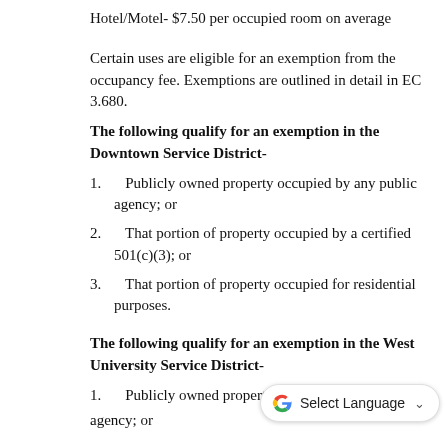Hotel/Motel- $7.50 per occupied room on average
Certain uses are eligible for an exemption from the occupancy fee. Exemptions are outlined in detail in EC 3.680.
The following qualify for an exemption in the Downtown Service District-
1.    Publicly owned property occupied by any public agency; or
2.    That portion of property occupied by a certified 501(c)(3); or
3.    That portion of property occupied for residential purposes.
The following qualify for an exemption in the West University Service District-
1.    Publicly owned property occupied...
agency; or